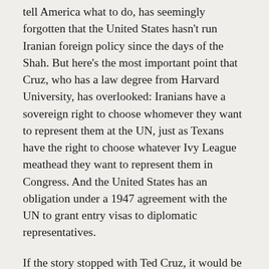tell America what to do, has seemingly forgotten that the United States hasn't run Iranian foreign policy since the days of the Shah. But here's the most important point that Cruz, who has a law degree from Harvard University, has overlooked: Iranians have a sovereign right to choose whomever they want to represent them at the UN, just as Texans have the right to choose whatever Ivy League meathead they want to represent them in Congress. And the United States has an obligation under a 1947 agreement with the UN to grant entry visas to diplomatic representatives.
If the story stopped with Ted Cruz, it would be only an amusing anecdote. But, unbelievably, Cruz's measure won the unanimous support of both the Senate and the House. Unanimous? There was no one willing to